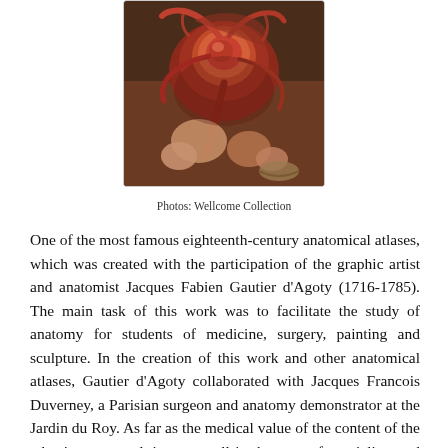[Figure (illustration): An anatomical illustration in the style of 18th-century mezzotint, showing dissected human anatomy with reddish-brown tones, depicting organs and tissue against a dark background.]
Photos: Wellcome Collection
One of the most famous eighteenth-century anatomical atlases, which was created with the participation of the graphic artist and anatomist Jacques Fabien Gautier d'Agoty (1716-1785). The main task of this work was to facilitate the study of anatomy for students of medicine, surgery, painting and sculpture. In the creation of this work and other anatomical atlases, Gautier d'Agoty collaborated with Jacques Francois Duverney, a Parisian surgeon and anatomy demonstrator at the Jardin du Roy. As far as the medical value of the content of the atlas is concerned, it was small in the eyes of specialists and has